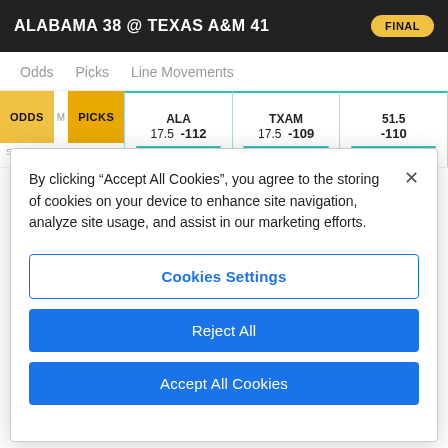ALABAMA 38 @ TEXAS A&M 41 FINAL
Odds   Picks   Line Movements
| ODDS / PICKS | ALA | TXAM | 51.5 |
| --- | --- | --- | --- |
| 17.5  -112 | 17.5  -109 | -110 |
By clicking “Accept All Cookies”, you agree to the storing of cookies on your device to enhance site navigation, analyze site usage, and assist in our marketing efforts.
Cookies Settings
Reject All
Accept All Cookies